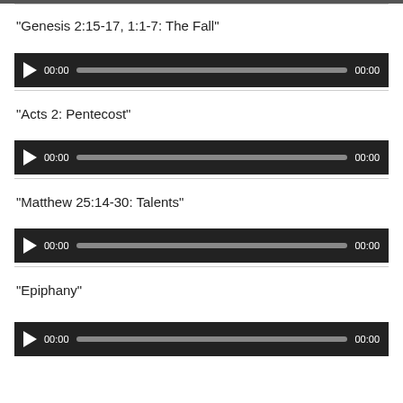“Genesis 2:15-17, 1:1-7: The Fall”
[Figure (screenshot): Audio player widget with play button, time display 00:00, progress bar, and duration 00:00 on dark background]
“Acts 2: Pentecost”
[Figure (screenshot): Audio player widget with play button, time display 00:00, progress bar, and duration 00:00 on dark background]
“Matthew 25:14-30: Talents”
[Figure (screenshot): Audio player widget with play button, time display 00:00, progress bar, and duration 00:00 on dark background]
“Epiphany”
[Figure (screenshot): Audio player widget partially visible at bottom of page]